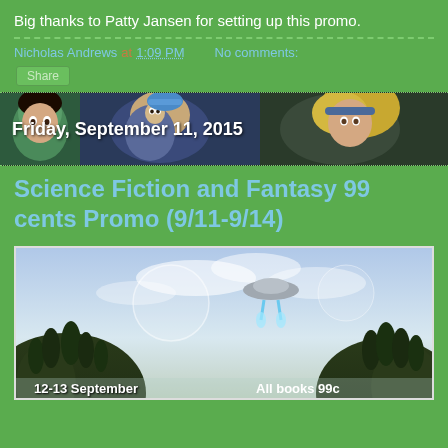Big thanks to Patty Jansen for setting up this promo.
Nicholas Andrews at 1:09 PM   No comments:
Share
[Figure (illustration): Horizontal banner strip with illustrated manga/comic-style character faces in dark background with dotted borders]
Friday, September 11, 2015
Science Fiction and Fantasy 99 cents Promo (9/11-9/14)
[Figure (photo): Promotional book image showing a fantasy/sci-fi landscape with floating islands, a spacecraft with blue jets, cloudy sky, and text reading '12-13 September' and 'All books 99c']